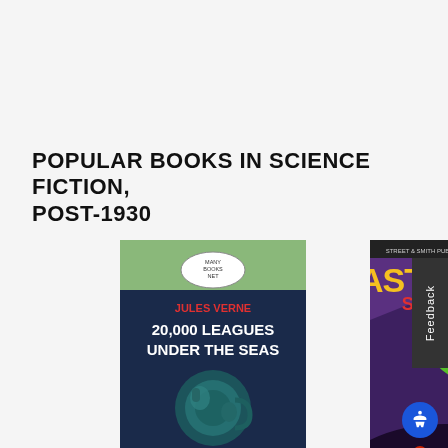POPULAR BOOKS IN SCIENCE FICTION, POST-1930
[Figure (illustration): Book cover of '20,000 Leagues Under the Seas' by Jules Verne — green top section with 'Many Books Net' logo, dark navy lower section with white text and a teal submarine/creature image, black bottom strip reading 'complete & unabridged']
20,000 Leagues
[Figure (illustration): Magazine cover of 'Astounding Stories' — yellow text title on dark background, fantasy/sci-fi illustration with glowing green creature, running figures in red suits, purple cave environment, text 'At the Mountains of Madness by H.P. Lovecraft']
At the Mountains of